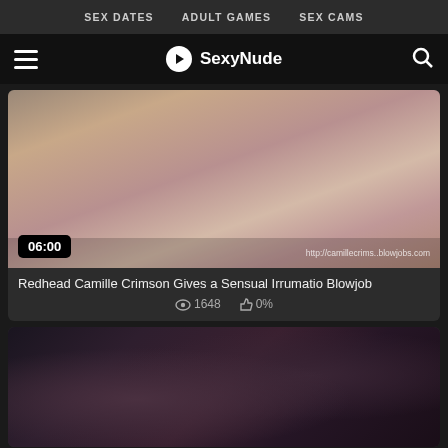SEX DATES   ADULT GAMES   SEX CAMS
SexyNude
[Figure (screenshot): Thumbnail of video: Redhead Camille Crimson Gives a Sensual Irrumatio Blowjob. Duration badge shows 06:00. Watermark: http://camillecrims...blowjobs.com]
Redhead Camille Crimson Gives a Sensual Irrumatio Blowjob
1648   0%
[Figure (screenshot): Partial thumbnail of second video, dark scene]